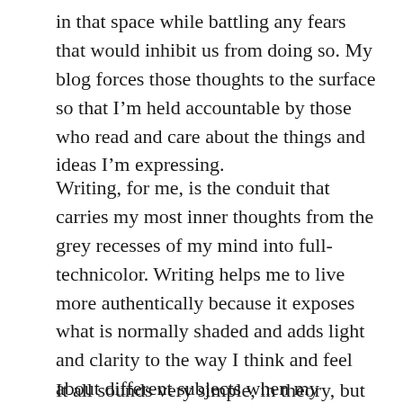in that space while battling any fears that would inhibit us from doing so. My blog forces those thoughts to the surface so that I'm held accountable by those who read and care about the things and ideas I'm expressing.
Writing, for me, is the conduit that carries my most inner thoughts from the grey recesses of my mind into full-technicolor. Writing helps me to live more authentically because it exposes what is normally shaded and adds light and clarity to the way I think and feel about different subjects when my normal outward persona is perhaps less expressive or conservative.
It all sounds very simple, in theory, but it's actually